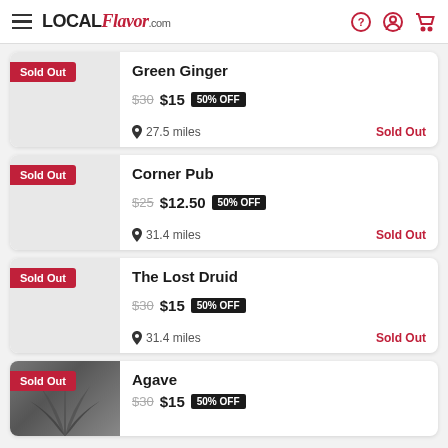LOCAL Flavor.com
Green Ginger | $30 $15 50% OFF | 27.5 miles | Sold Out
Corner Pub | $25 $12.50 50% OFF | 31.4 miles | Sold Out
The Lost Druid | $30 $15 50% OFF | 31.4 miles | Sold Out
Agave | $30 $15 50% OFF | Sold Out